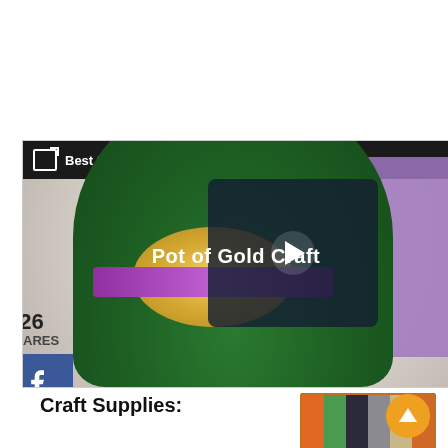[Figure (screenshot): Video thumbnail showing 'Pot of Gold Craft' with a green pot, gold coins, cotton clouds, and social share buttons (226 shares: 27 Facebook, Pinterest 199). Black top bar reads 'Best St Patrick's Day Crafts For Kids'.]
Craft Supplies:
[Figure (photo): Colorful diagonal striped craft paper in various colors (orange, green, black, grey, tan)]